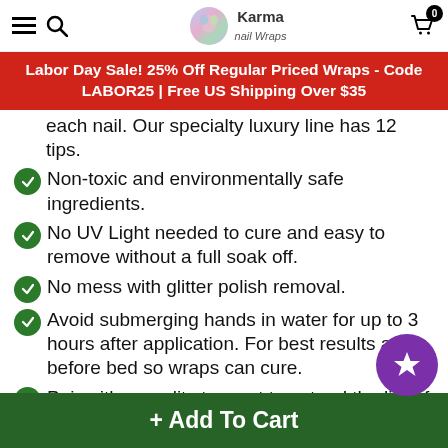Karma Nail Wraps — navigation header with hamburger, search, logo, cart
Labor Day Sale! 25% Off Regular Priced Wraps - Code LABOR25 | Free US Shipping Over $35
each nail. Our specialty luxury line has 12 tips.
Non-toxic and environmentally safe ingredients.
No UV Light needed to cure and easy to remove without a full soak off.
No mess with glitter polish removal.
Avoid submerging hands in water for up to 3 hours after application. For best results apply before bed so wraps can cure.
Pair with a quality topcoat to extend the life of your wraps. Average wear is up to 7-10
+ Add To Cart